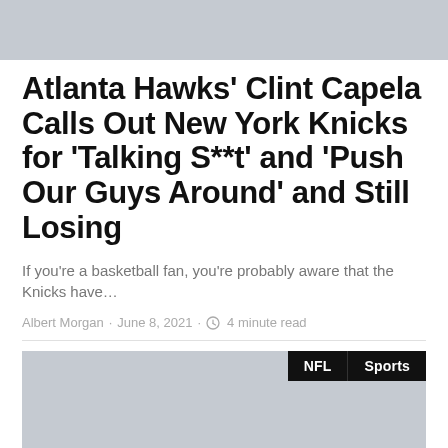[Figure (photo): Gray placeholder image at top of page]
Atlanta Hawks' Clint Capela Calls Out New York Knicks for 'Talking S**t' and 'Push Our Guys Around' and Still Losing
If you're a basketball fan, you're probably aware that the Knicks have…
Albert Morgan · June 8, 2021 · 4 minute read
[Figure (photo): Gray placeholder image at bottom, with NFL and Sports tags overlaid in top right corner]